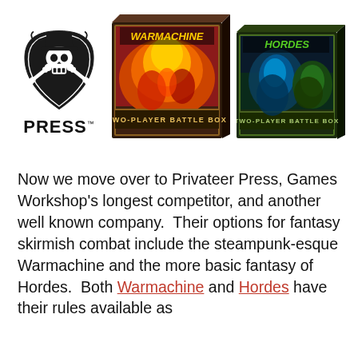[Figure (logo): Privateer Press logo: pirate skull with crossed bones on a shield, with 'PRIVATEER PRESS' text below]
[Figure (photo): Warmachine Two-Player Battle Box product box image]
[Figure (photo): Hordes Two-Player Battle Box product box image]
Now we move over to Privateer Press, Games Workshop's longest competitor, and another well known company.  Their options for fantasy skirmish combat include the steampunk-esque Warmachine and the more basic fantasy of Hordes.  Both Warmachine and Hordes have their rules available as